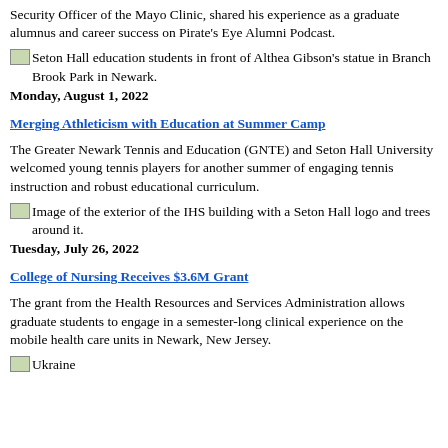Security Officer of the Mayo Clinic, shared his experience as a graduate alumnus and career success on Pirate's Eye Alumni Podcast.
[Figure (photo): Seton Hall education students in front of Althea Gibson's statue in Branch Brook Park in Newark.]
Monday, August 1, 2022
Merging Athleticism with Education at Summer Camp
The Greater Newark Tennis and Education (GNTE) and Seton Hall University welcomed young tennis players for another summer of engaging tennis instruction and robust educational curriculum.
[Figure (photo): Image of the exterior of the IHS building with a Seton Hall logo and trees around it.]
Tuesday, July 26, 2022
College of Nursing Receives $3.6M Grant
The grant from the Health Resources and Services Administration allows graduate students to engage in a semester-long clinical experience on the mobile health care units in Newark, New Jersey.
[Figure (photo): Ukraine]